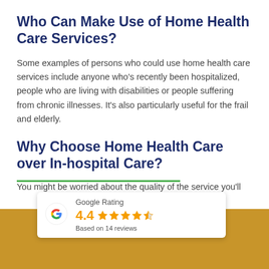Who Can Make Use of Home Health Care Services?
Some examples of persons who could use home health care services include anyone who's recently been hospitalized, people who are living with disabilities or people suffering from chronic illnesses. It's also particularly useful for the frail and elderly.
Why Choose Home Health Care over In-hospital Care?
You might be worried about the quality of the service you'll
[Figure (infographic): Google Rating widget showing 4.4 stars based on 14 reviews, with the Google 'G' logo in multicolor, four filled orange stars and one half star, rating number 4.4 in orange.]